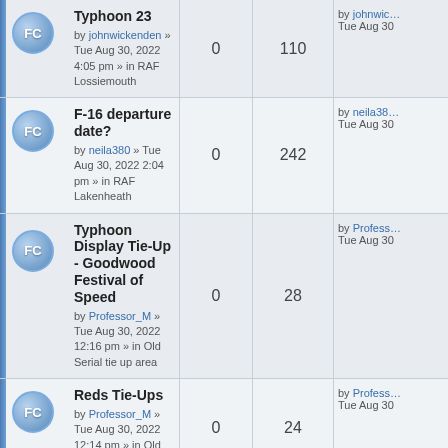| Topic | Replies | Views | Last post |
| --- | --- | --- | --- |
| Typhoon 23
by johnwickenden » Tue Aug 30, 2022 4:05 pm » in RAF Lossiemouth | 0 | 110 | by johnwickenden
Tue Aug 30 |
| F-16 departure date?
by neila380 » Tue Aug 30, 2022 2:04 pm » in RAF Lakenheath | 0 | 242 | by neila380
Tue Aug 30 |
| Typhoon Display Tie-Up - Goodwood Festival of Speed
by Professor_M » Tue Aug 30, 2022 12:16 pm » in Old Serial tie up area | 0 | 28 | by Professor_M
Tue Aug 30 |
| Reds Tie-Ups
by Professor_M » Tue Aug 30, 2022 12:14 pm » in Old Serial tie up area | 0 | 24 | by Professor_M
Tue Aug 30 |
| Reds - Goodwood FoS Sunday 2022 - 26/06/22
by Professor_M » Tue Aug 30, 2022 12:03 pm » in Recent Serial tie up area | 0 | 33 | by Professor_M
Tue Aug 30 |
| Aldergrove - 30 August 2022 | 0 | 166 | by gadwal
Tue Aug 30 |